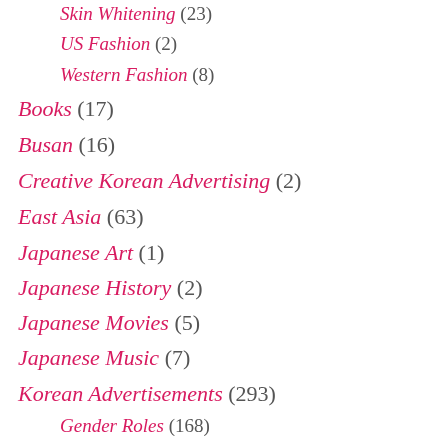Skin Whitening (23)
US Fashion (2)
Western Fashion (8)
Books (17)
Busan (16)
Creative Korean Advertising (2)
East Asia (63)
Japanese Art (1)
Japanese History (2)
Japanese Movies (5)
Japanese Music (7)
Korean Advertisements (293)
Gender Roles (168)
Korean Art (23)